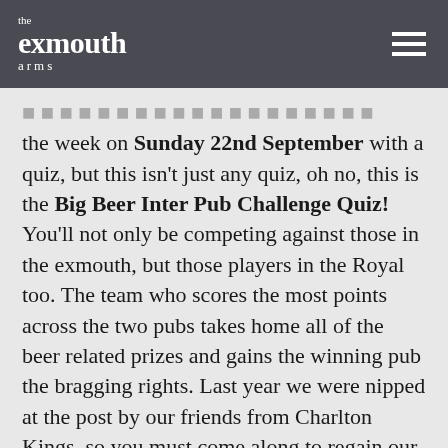the exmouth arms
the week on Sunday 22nd September with a quiz, but this isn't just any quiz, oh no, this is the Big Beer Inter Pub Challenge Quiz! You'll not only be competing against those in the exmouth, but those players in the Royal too. The team who scores the most points across the two pubs takes home all of the beer related prizes and gains the winning pub the bragging rights. Last year we were nipped at the post by our friends from Charlton Kings, so you must come along to regain our honour as we prove that the exmouth has the very best of Cheltenham's quiz brains. (Usual £1 entry fee per person, teams up to 6 people, and nibbles provided at half-time).